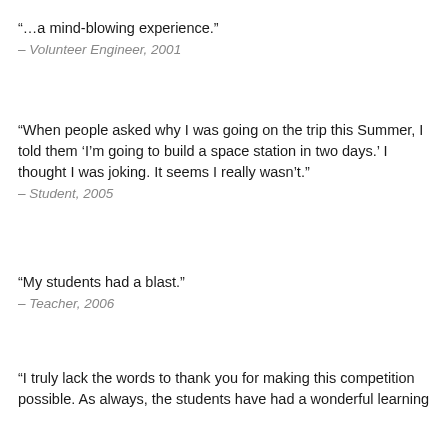“…a mind-blowing experience.”
– Volunteer Engineer, 2001
"When people asked why I was going on the trip this Summer, I told them ‘I’m going to build a space station in two days.’ I thought I was joking. It seems I really wasn’t."
– Student, 2005
"My students had a blast."
– Teacher, 2006
"I truly lack the words to thank you for making this competition possible. As always, the students have had a wonderful learning